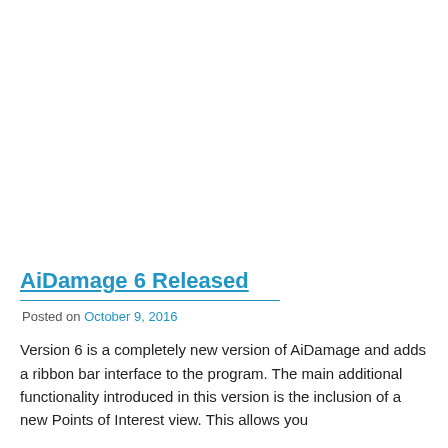AiDamage 6 Released
Posted on October 9, 2016
Version 6 is a completely new version of AiDamage and adds a ribbon bar interface to the program. The main additional functionality introduced in this version is the inclusion of a new Points of Interest view. This allows you